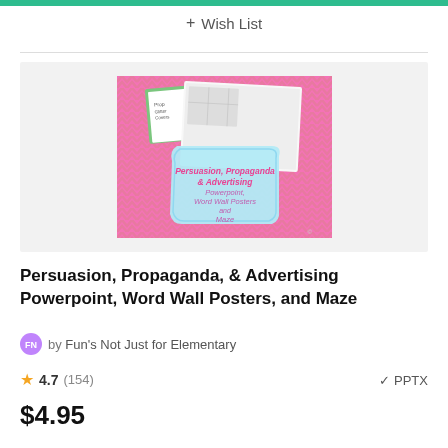+ Wish List
[Figure (illustration): Product thumbnail showing Persuasion, Propaganda & Advertising Powerpoint, Word Wall Posters and Maze educational resource cover with pink chevron background and light blue decorative label]
Persuasion, Propaganda, & Advertising Powerpoint, Word Wall Posters, and Maze
by Fun's Not Just for Elementary
4.7 (154)
✓ PPTX
$4.95